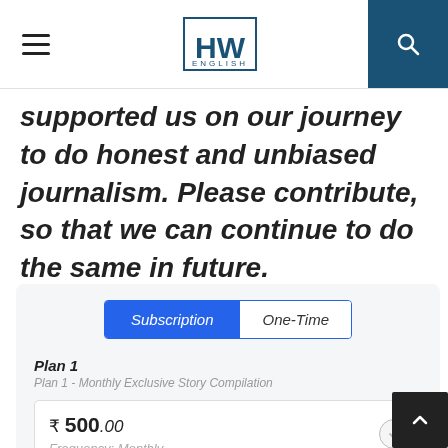HW ENGLISH
supported us on our journey to do honest and unbiased journalism. Please contribute, so that we can continue to do the same in future.
Subscription | One-Time
Plan 1
Plan 1 - Monthly Exclusive Story Compilation
₹ 500.00
Frequency: Monthly
Plan 2